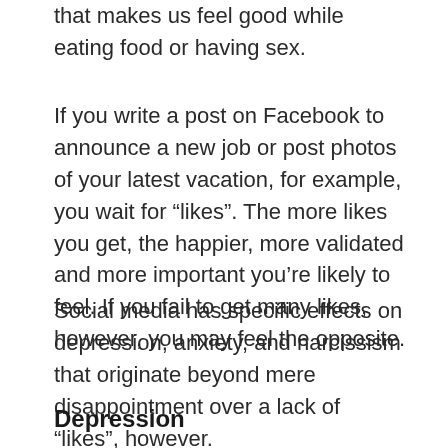that makes us feel good while eating food or having sex.
If you write a post on Facebook to announce a new job or post photos of your latest vacation, for example, you wait for “likes”. The more likes you get, the happier, more validated and more important you’re likely to feel. If you fail to get many likes, however, you may feel the opposite.
Social media has specific effects on depression, anxiety, and narcissism that originate beyond mere disappointment over a lack of “likes”, however.
Depression